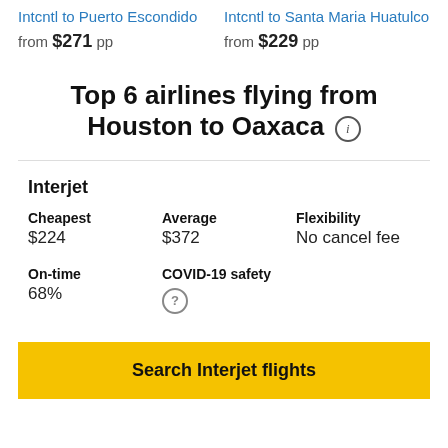Intcntl to Puerto Escondido
from $271 pp
Intcntl to Santa Maria Huatulco
from $229 pp
Top 6 airlines flying from Houston to Oaxaca
Interjet
| Cheapest | Average | Flexibility |
| --- | --- | --- |
| $224 | $372 | No cancel fee |
| On-time | COVID-19 safety |  |
| --- | --- | --- |
| 68% | ? |  |
Search Interjet flights